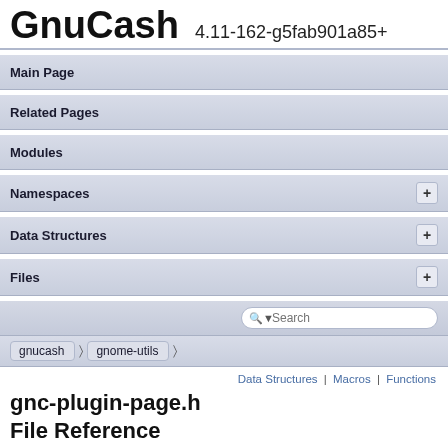GnuCash 4.11-162-g5fab901a85+
Main Page
Related Pages
Modules
Namespaces +
Data Structures +
Files +
Search
gnucash > gnome-utils
Data Structures | Macros | Functions
gnc-plugin-page.h File Reference
GUI » Window/Plugin Structure » Plugins » Content Plugins »